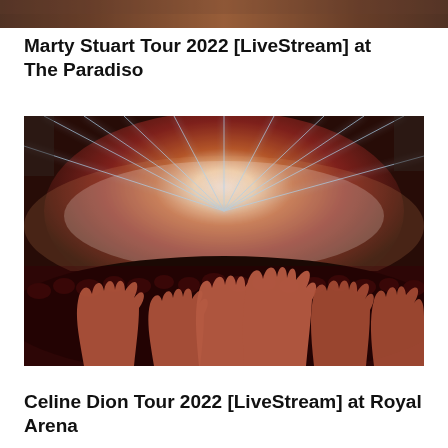[Figure (photo): Partial top strip of a concert/event photo cropped at the top of the page]
Marty Stuart Tour 2022 [LiveStream] at The Paradiso
[Figure (photo): Concert photo showing a crowd with raised hands and bright stage lights radiating from center stage, with red and purple lighting atmosphere]
Celine Dion Tour 2022 [LiveStream] at Royal Arena